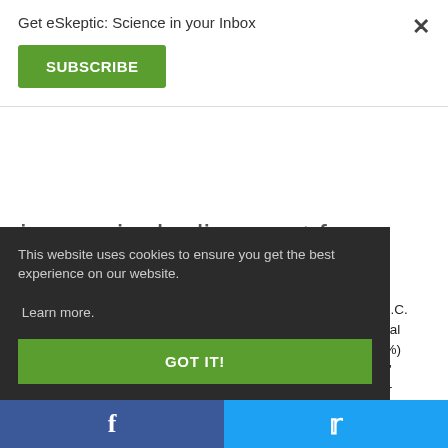Get eSkeptic: Science in your Inbox
SUBSCRIBE
increasingly divergent from one another academically, socially, and in ethos—a result desired, presumably, by no rational soul.
This website uses cookies to ensure you get the best experience on our website. Learn more.
GOT IT!
rming, en at U.C. lbstantial out 40%) orities," e major
f
🐦